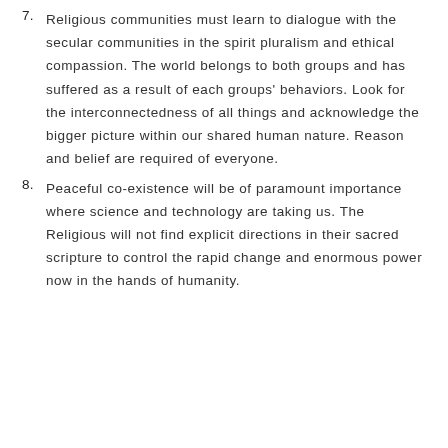7. Religious communities must learn to dialogue with the secular communities in the spirit pluralism and ethical compassion. The world belongs to both groups and has suffered as a result of each groups' behaviors. Look for the interconnectedness of all things and acknowledge the bigger picture within our shared human nature. Reason and belief are required of everyone.
8. Peaceful co-existence will be of paramount importance where science and technology are taking us. The Religious will not find explicit directions in their sacred scripture to control the rapid change and enormous power now in the hands of humanity.